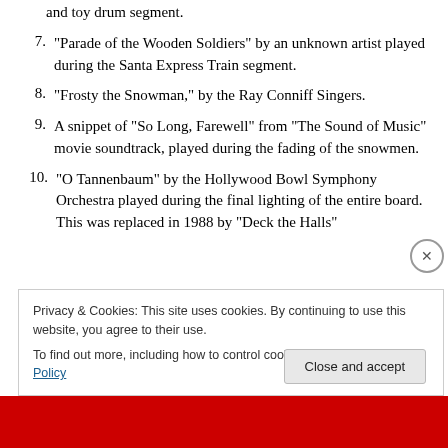and toy drum segment.
7. “Parade of the Wooden Soldiers” by an unknown artist played during the Santa Express Train segment.
8. “Frosty the Snowman,” by the Ray Conniff Singers.
9. A snippet of “So Long, Farewell” from “The Sound of Music” movie soundtrack, played during the fading of the snowmen.
10. “O Tannenbaum” by the Hollywood Bowl Symphony Orchestra played during the final lighting of the entire board. This was replaced in 1988 by “Deck the Halls”
Privacy & Cookies: This site uses cookies. By continuing to use this website, you agree to their use. To find out more, including how to control cookies, see here: Cookie Policy